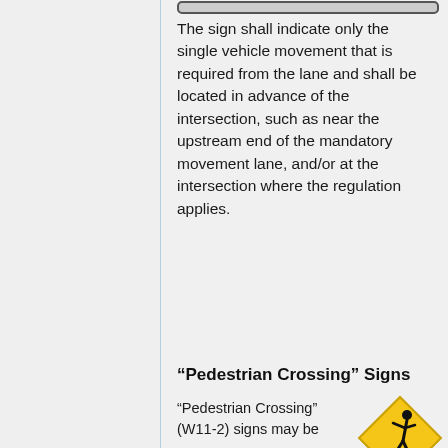[Figure (other): Top portion of a road sign graphic (cropped at top of page)]
The sign shall indicate only the single vehicle movement that is required from the lane and shall be located in advance of the intersection, such as near the upstream end of the mandatory movement lane, and/or at the intersection where the regulation applies.
“Pedestrian Crossing” Signs
“Pedestrian Crossing” (W11-2) signs may be
[Figure (illustration): Yellow diamond-shaped pedestrian crossing warning sign (W11-2) with black pedestrian walking symbol]